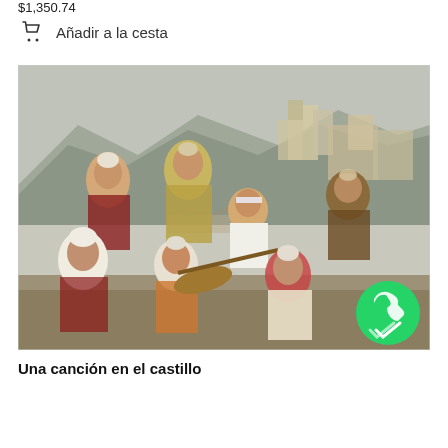$1,350.74
Añadir a la cesta
[Figure (illustration): A painting depicting a group of men in traditional Balkan/Ottoman folk costumes gathered together. Several men are seated or reclining, some playing a saz/baglama string instrument. They wear white turbans, red and gold embroidered vests, and baggy trousers. In the background is a cityscape with a castle/fortress on a hill, arched bridges, and mountains under a hazy sky. A WhatsApp icon appears in the bottom-right corner of the image.]
Una canción en el castillo